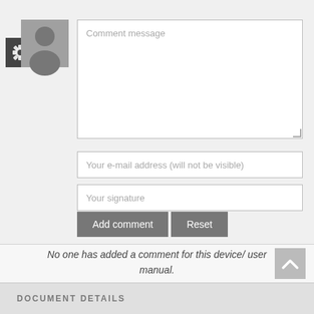[Figure (screenshot): User avatar area with gear/settings icon (dark square) on the left and a gray person silhouette photo icon on the right]
Comment message
Your e-mail address (will not be visible)
Your signature
Add comment
Reset
No one has added a comment for this device/ user manual.
DOCUMENT DETAILS